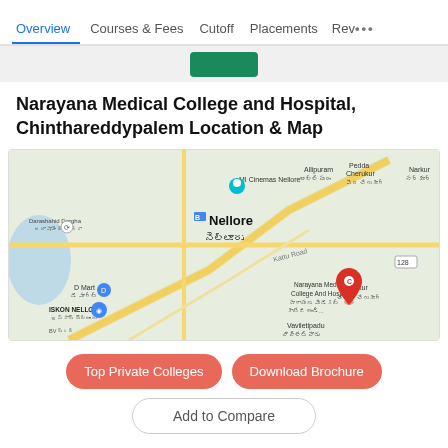Overview | Courses & Fees | Cutoff | Placements | Rev...
Narayana Medical College and Hospital, Chinthareddypalem Location & Map
[Figure (map): Google Maps view showing Narayana Medical College And Hospital location near Nellore, with surrounding areas including Allipuram, Pedda Cherukur, Narkur, Chinna Cherukur, Vaviletipadu, ISKON Nellore, D Mart, Darashahid Dargha, MI Cinemas Nellore marked.]
Top Private Colleges | Download Brochure | Add to Compare